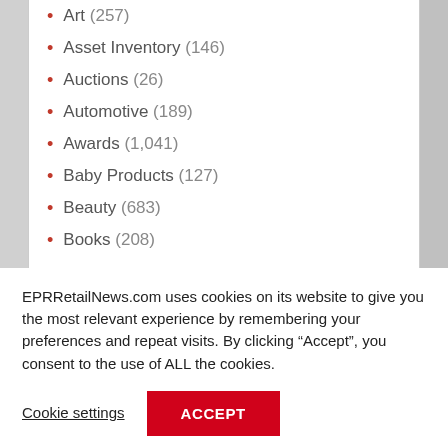Art (257)
Asset Inventory (146)
Auctions (26)
Automotive (189)
Awards (1,041)
Baby Products (127)
Beauty (683)
Books (208)
EPRRetailNews.com uses cookies on its website to give you the most relevant experience by remembering your preferences and repeat visits. By clicking “Accept”, you consent to the use of ALL the cookies.
Cookie settings
ACCEPT